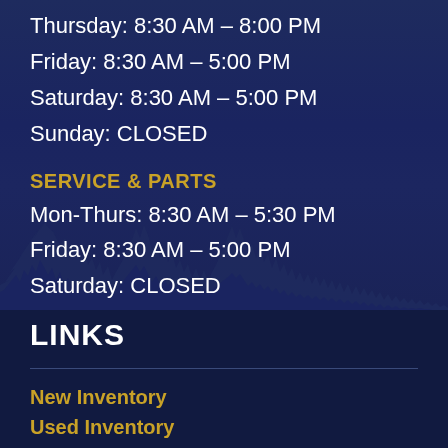Thursday: 8:30 AM – 8:00 PM
Friday: 8:30 AM – 5:00 PM
Saturday: 8:30 AM – 5:00 PM
Sunday: CLOSED
SERVICE & PARTS
Mon-Thurs: 8:30 AM – 5:30 PM
Friday: 8:30 AM – 5:00 PM
Saturday: CLOSED
Sunday: CLOSED
LINKS
New Inventory
Used Inventory
Clearance
Specials